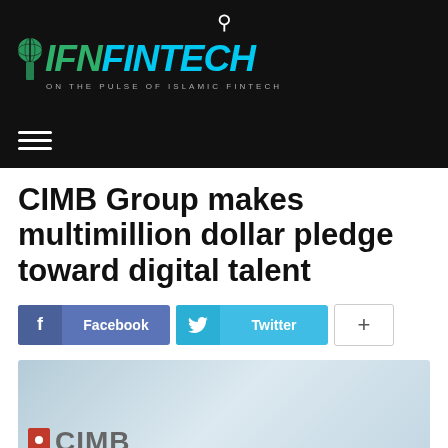IFN FINTECH — ON THE PULSE OF ISLAMIC FINTECH
CIMB Group makes multimillion dollar pledge toward digital talent
[Figure (screenshot): Social sharing buttons: Facebook (blue-purple), Twitter (light blue), and a plus/more button (white with border)]
[Figure (photo): CIMB logo on a light blue/grey gradient background]